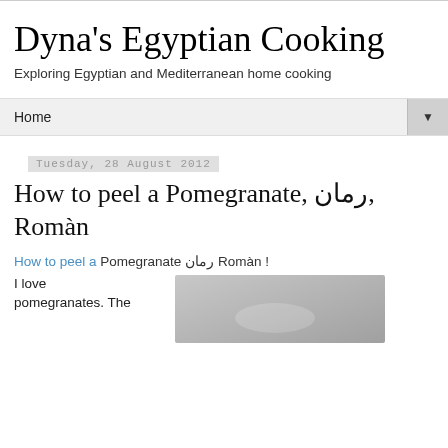Dyna's Egyptian Cooking
Exploring Egyptian and Mediterranean home cooking
Home ▼
Tuesday, 28 August 2012
How to peel a Pomegranate, رمان, Romàn
How to peel a Pomegranate رمان Romàn !
I love pomegranates. The
[Figure (photo): Photo of a pomegranate being peeled in a bowl, gray/white background]